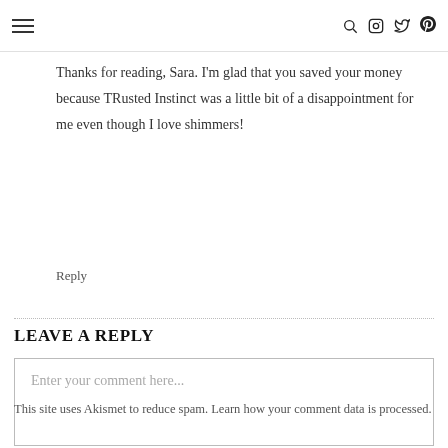Navigation header with hamburger menu and social icons (search, instagram, twitter, pinterest)
Thanks for reading, Sara. I'm glad that you saved your money because TRusted Instinct was a little bit of a disappointment for me even though I love shimmers!
Reply
LEAVE A REPLY
Enter your comment here...
This site uses Akismet to reduce spam. Learn how your comment data is processed.